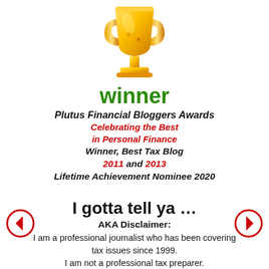[Figure (illustration): Gold trophy cup icon]
winner
Plutus Financial Bloggers Awards
Celebrating the Best
in Personal Finance
Winner, Best Tax Blog
2011 and 2013
Lifetime Achievement Nominee 2020
I gotta tell ya …
AKA Disclaimer:
I am a professional journalist who has been covering tax issues since 1999.
I am not a professional tax preparer.
The content on Don't Mess With Taxes is my personal